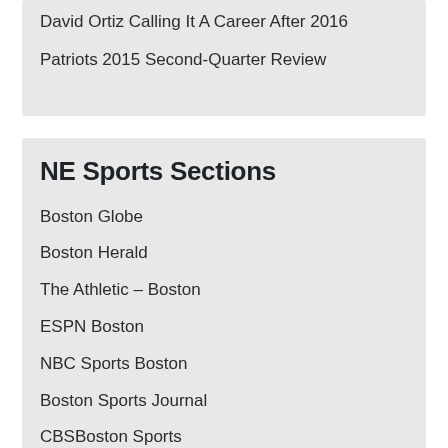David Ortiz Calling It A Career After 2016
Patriots 2015 Second-Quarter Review
NE Sports Sections
Boston Globe
Boston Herald
The Athletic – Boston
ESPN Boston
NBC Sports Boston
Boston Sports Journal
CBSBoston Sports